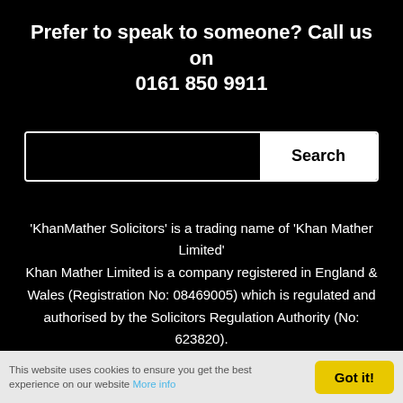Prefer to speak to someone? Call us on 0161 850 9911
[Figure (screenshot): Search bar with black input field and white Search button]
'KhanMather Solicitors' is a trading name of 'Khan Mather Limited' Khan Mather Limited is a company registered in England & Wales (Registration No: 08469005) which is regulated and authorised by the Solicitors Regulation Authority (No: 623820).
This website uses cookies to ensure you get the best experience on our website More info Got it!